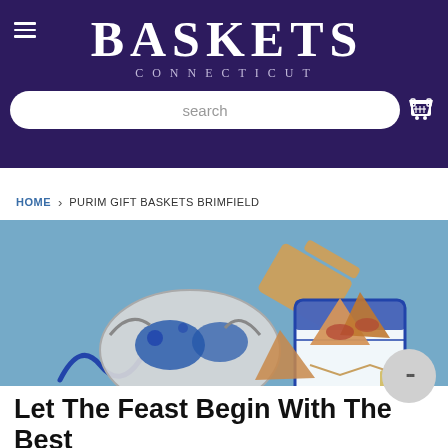BASKETS CONNECTICUT
search
HOME > PURIM GIFT BASKETS BRIMFIELD
[Figure (photo): Purim themed photo showing a decorative silver and blue masquerade mask, hamantaschen cookies in a blue and white decorated cup/container, and a wooden grogger (noisemaker) on a blue sparkly background.]
Let The Feast Begin With The Best Purim Gift Baskets Brimfield